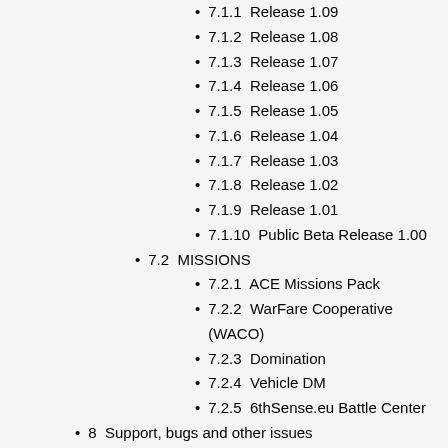7.1.1  Release 1.09
7.1.2  Release 1.08
7.1.3  Release 1.07
7.1.4  Release 1.06
7.1.5  Release 1.05
7.1.6  Release 1.04
7.1.7  Release 1.03
7.1.8  Release 1.02
7.1.9  Release 1.01
7.1.10  Public Beta Release 1.00
7.2  MISSIONS
7.2.1  ACE Missions Pack
7.2.2  WarFare Cooperative (WACO)
7.2.3  Domination
7.2.4  Vehicle DM
7.2.5  6thSense.eu Battle Center
8  Support, bugs and other issues
8.1  Ticket Reporting
8.2  FAQ
9  Links
10  MOD Cooperation Links